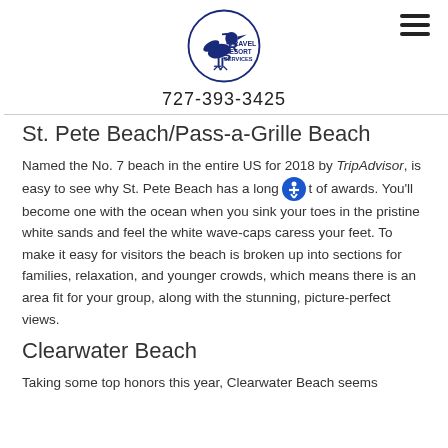TRS Travel Resort Services
727-393-3425
St. Pete Beach/Pass-a-Grille Beach
Named the No. 7 beach in the entire US for 2018 by TripAdvisor, is easy to see why St. Pete Beach has a long list of awards. You'll become one with the ocean when you sink your toes in the pristine white sands and feel the white wave-caps caress your feet. To make it easy for visitors the beach is broken up into sections for families, relaxation, and younger crowds, which means there is an area fit for your group, along with the stunning, picture-perfect views.
Clearwater Beach
Taking some top honors this year, Clearwater Beach seems